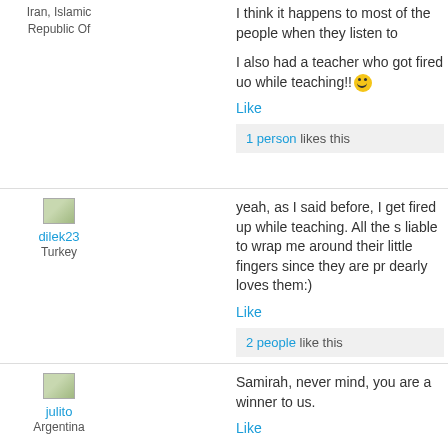Iran, Islamic Republic Of
I think it happens to most of the people when they listen to
I also had a teacher who got fired uo while teaching!!
Like
1 person likes this
dilek23
Turkey
yeah, as I said before, I get fired up while teaching. All the s liable to wrap me around their little fingers since they are pr dearly loves them:)
Like
2 people like this
julito
Argentina
Samirah,  never mind, you are a winner to us.
Like